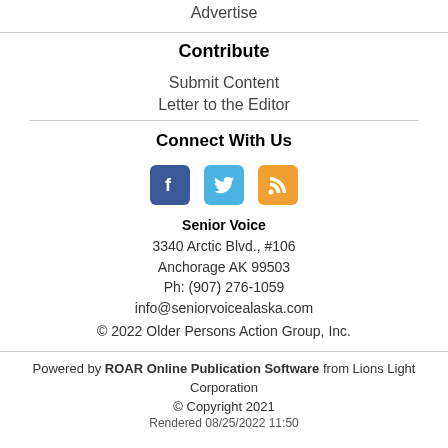Advertise
Contribute
Submit Content
Letter to the Editor
Connect With Us
[Figure (infographic): Three social media icons: Facebook (blue), Twitter (light blue), RSS (orange)]
Senior Voice
3340 Arctic Blvd., #106
Anchorage AK 99503
Ph: (907) 276-1059
info@seniorvoicealaska.com
© 2022 Older Persons Action Group, Inc.
Powered by ROAR Online Publication Software from Lions Light Corporation
© Copyright 2021
Rendered 08/25/2022 11:50